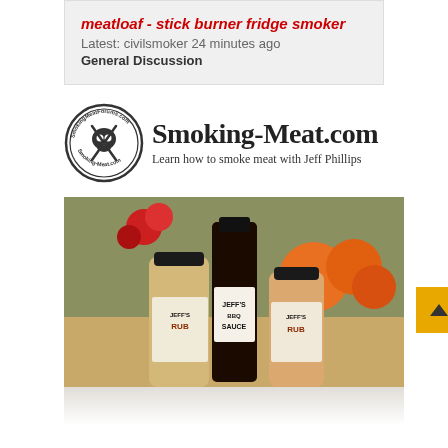meatloaf - stick burner fridge smoker
Latest: civilsmoker 24 minutes ago
General Discussion
[Figure (logo): Smoking-Meat.com logo with circular badge and text 'Smoking-Meat.com Learn how to smoke meat with Jeff Phillips']
[Figure (photo): Jeff's BBQ Rub and BBQ Sauce product bottles on a wooden table with autumn decorations in background]
[Figure (other): Navigation up/down arrow buttons in orange/gold color]
[Figure (other): Close (X) button circle at bottom right]